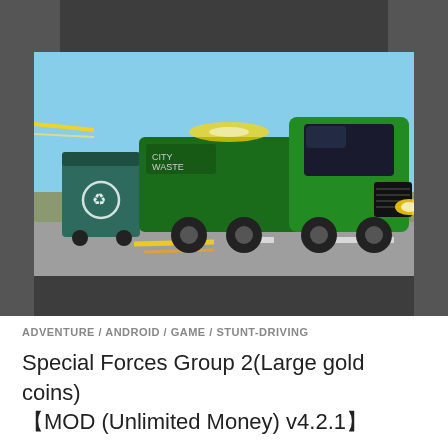[Figure (screenshot): Screenshot of a green garbage truck game from a mobile app listing, with dark gray bars on the sides and top. The truck is speeding on a road against a blue sky background.]
ADVENTURE / ANDROID / GAME / STUNT-DRIVING
Special Forces Group 2(Large gold coins)【MOD (Unlimited Money) v4.2.1】
[Figure (other): Gray empty box placeholder at the bottom of the page]